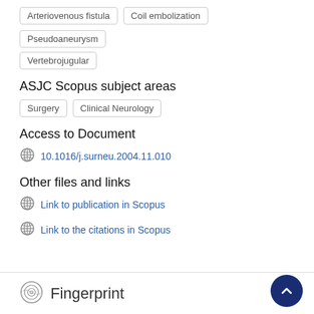Arteriovenous fistula
Coil embolization
Pseudoaneurysm
Vertebrojugular
ASJC Scopus subject areas
Surgery
Clinical Neurology
Access to Document
10.1016/j.surneu.2004.11.010
Other files and links
Link to publication in Scopus
Link to the citations in Scopus
Fingerprint